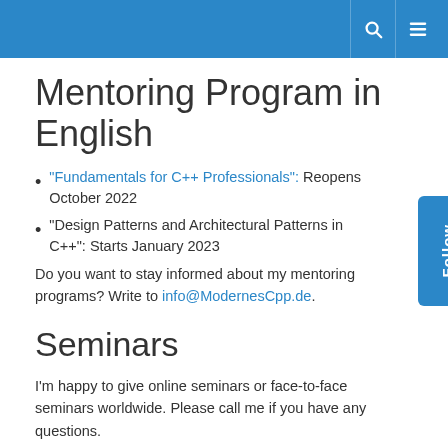Mentoring Program in English
"Fundamentals for C++ Professionals": Reopens October 2022
"Design Patterns and Architectural Patterns in C++": Starts January 2023
Do you want to stay informed about my mentoring programs? Write to info@ModernesCpp.de.
Seminars
I'm happy to give online seminars or face-to-face seminars worldwide. Please call me if you have any questions.
Bookable (Online)